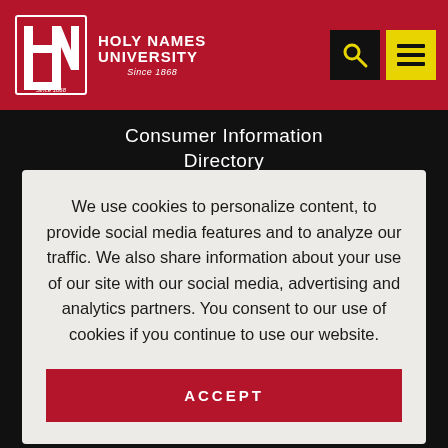[Figure (logo): Holy Names University logo with monogram HNU and text 'Holy Names University Since 1868' on red header background]
Consumer Information Directory
We use cookies to personalize content, to provide social media features and to analyze our traffic. We also share information about your use of our site with our social media, advertising and analytics partners. You consent to our use of cookies if you continue to use our website.
ACCEPT